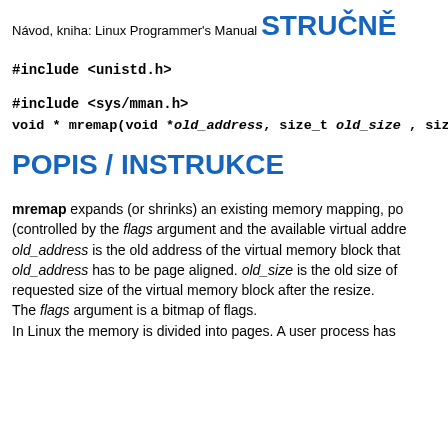Návod, kniha: Linux Programmer's Manual
STRUČNĚ
#include <unistd.h>
#include <sys/mman.h>
void * mremap(void *old_address, size_t old_size , size_t ne
POPIS / INSTRUKCE
mremap expands (or shrinks) an existing memory mapping, po (controlled by the flags argument and the available virtual addre old_address is the old address of the virtual memory block that old_address has to be page aligned. old_size is the old size of requested size of the virtual memory block after the resize. The flags argument is a bitmap of flags. In Linux the memory is divided into pages. A user process has